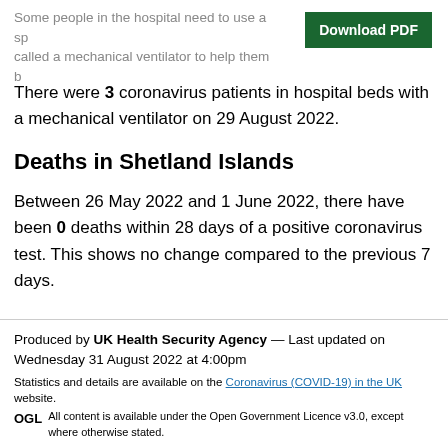Some people in the hospital need to use a sp... called a mechanical ventilator to help them b...
There were 3 coronavirus patients in hospital beds with a mechanical ventilator on 29 August 2022.
Deaths in Shetland Islands
Between 26 May 2022 and 1 June 2022, there have been 0 deaths within 28 days of a positive coronavirus test. This shows no change compared to the previous 7 days.
Produced by UK Health Security Agency — Last updated on Wednesday 31 August 2022 at 4:00pm
Statistics and details are available on the Coronavirus (COVID-19) in the UK website.
OGL All content is available under the Open Government Licence v3.0, except where otherwise stated.